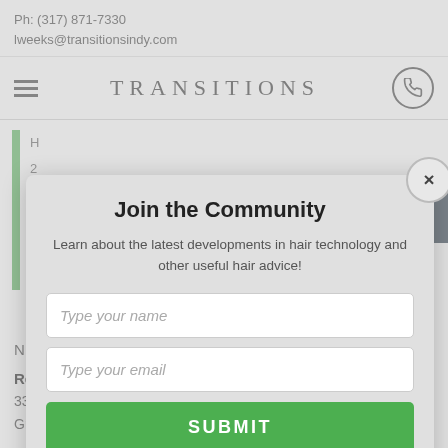Ph: (317) 871-7330
lweeks@transitionsindy.com
[Figure (screenshot): Website navigation bar with hamburger menu icon on left, TRANSITIONS brand name in center with wide letter spacing, and a phone icon button on right]
Join the Community
Learn about the latest developments in hair technology and other useful hair advice!
Type your name
Type your email
SUBMIT
RealHair, LLC
330 East Beltline Ave. NE
Grand Rapids, MI 49506